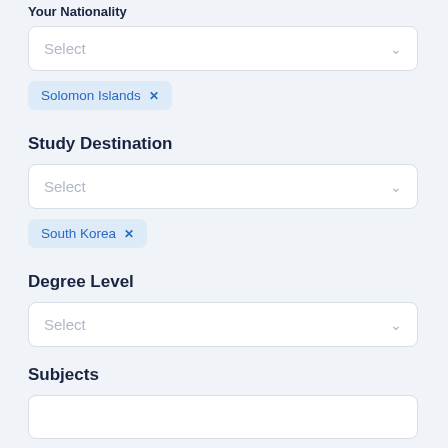Your Nationality
[Figure (screenshot): Select dropdown input box with placeholder text 'Select' and chevron]
Solomon Islands ×
Study Destination
[Figure (screenshot): Select dropdown input box with placeholder text 'Select' and chevron]
South Korea ×
Degree Level
[Figure (screenshot): Select dropdown input box with placeholder text 'Select' and chevron]
Subjects
[Figure (screenshot): Partially visible select dropdown input box]